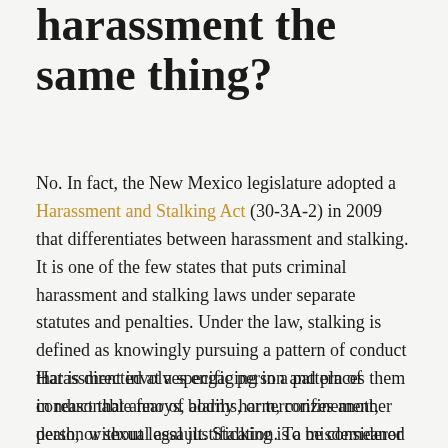harassment the same thing?
No. In fact, the New Mexico legislature adopted a Harassment and Stalking Act (30-3A-2) in 2009 that differentiates between harassment and stalking. It is one of the few states that puts criminal harassment and stalking laws under separate statutes and penalties. Under the law, stalking is defined as knowingly pursuing a pattern of conduct that is directed at a specific person and places them in reasonable fear of bodily harm, confinement, death, or sexual assault. Stalking is a misdemeanor for a first offense. Subsequent offenses or convictions are fourth degree felonies.
Harassment involves engaging in a pattern of conduct that annoys, alarms, or terrorizes another person without legal justification. To be considered harassment, the perpetrators actions must rise to the level of causing serious emotional